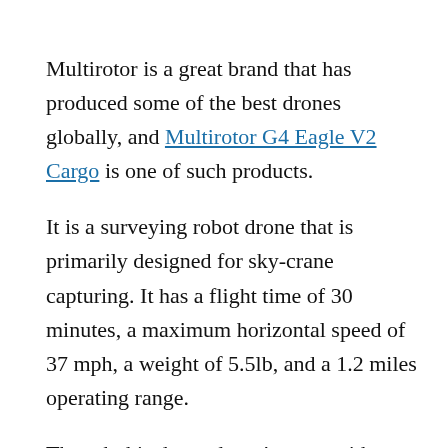Multirotor is a great brand that has produced some of the best drones globally, and Multirotor G4 Eagle V2 Cargo is one of such products.
It is a surveying robot drone that is primarily designed for sky-crane capturing. It has a flight time of 30 minutes, a maximum horizontal speed of 37 mph, a weight of 5.5lb, and a 1.2 miles operating range.
Though this drone doesn’t come with an in-built camera, its features make it quite pricey. You can attach a camera to its cargo gimbal.
READ MORE: The Most Expensive Fishing